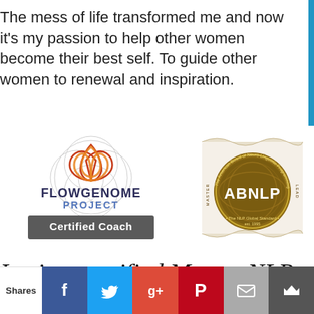The mess of life transformed me and now it's my passion to help other women become their best self. To guide other women to renewal and inspiration.
[Figure (logo): Flow Genome Project Certified Coach logo with trinity knot symbol]
[Figure (logo): ABNLP - The American Board of Neuro-Linguistic Programming badge - The NLP Global Standard, est. 1995]
Ivy is a certified Master NLP
Practitioner, Life Coach, and
Shares | Facebook | Twitter | Google+ | Pinterest | Email | Crown